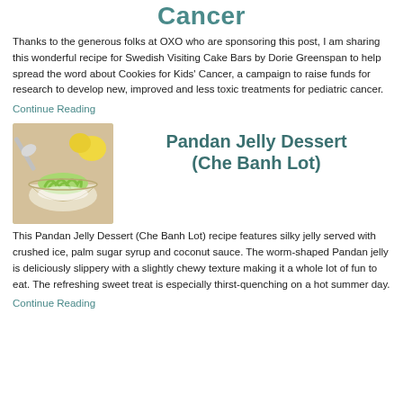Cancer
Thanks to the generous folks at OXO who are sponsoring this post, I am sharing this wonderful recipe for Swedish Visiting Cake Bars by Dorie Greenspan to help spread the word about Cookies for Kids' Cancer, a campaign to raise funds for research to develop new, improved and less toxic treatments for pediatric cancer.
Continue Reading
Pandan Jelly Dessert (Che Banh Lot)
[Figure (photo): Photo of Pandan Jelly Dessert in a glass bowl with green worm-shaped jelly, crushed ice and coconut sauce, with lemons and a spoon in background]
This Pandan Jelly Dessert (Che Banh Lot) recipe features silky jelly served with crushed ice, palm sugar syrup and coconut sauce. The worm-shaped Pandan jelly is deliciously slippery with a slightly chewy texture making it a whole lot of fun to eat. The refreshing sweet treat is especially thirst-quenching on a hot summer day.
Continue Reading